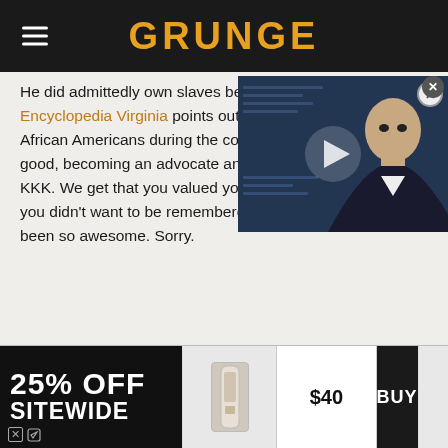GRUNGE
He did admittedly own slaves before the war. But as Encyclopedia Virginia points out, it was the courage of African Americans during the conflict that he changed for good, becoming an advocate and a hated enemy of the KKK. We get that you valued your privacy, George. But if you didn't want to be remembered, you shouldn't have been so awesome. Sorry.
[Figure (screenshot): Video overlay showing a bald man in a suit with a play button, with a close (X) button in the top right corner]
[Figure (screenshot): Advertisement banner: '25% OFF SITEWIDE' on dark background, product image, $40 price, BUY button]